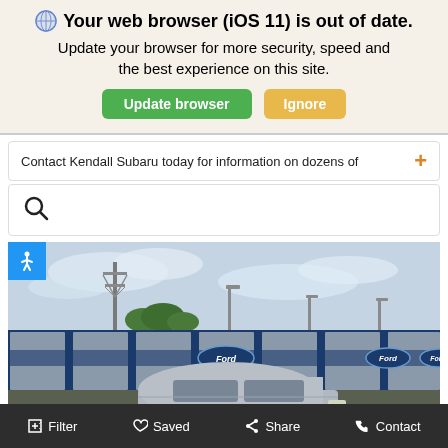🌐 Your web browser (iOS 11) is out of date. Update your browser for more security, speed and the best experience on this site. [Update browser] [Ignore]
Contact Kendall Subaru today for information on dozens of +
[Figure (screenshot): Search bar with magnifying glass icon]
[Figure (photo): Photo of a silver/white compact car in front of Ford transport rail cars at what appears to be a rail yard or car transport facility. Blue and gray train cars with Ford logos visible. Power line tower and street lights in background.]
Filter   Saved   Share   Contact